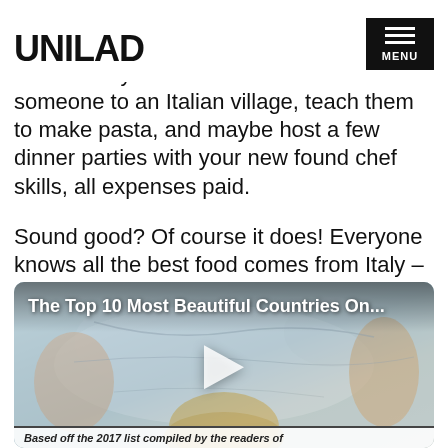UNILAD
that actually exists – Airbnb want to send someone to an Italian village, teach them to make pasta, and maybe host a few dinner parties with your new found chef skills, all expenses paid.
Sound good? Of course it does! Everyone knows all the best food comes from Italy – pasta, pizza... other carb-based meals...
[Figure (screenshot): Video thumbnail showing a person with hands spread over a map, with title 'The Top 10 Most Beautiful Countries On...' and a play button overlay]
Based off the 2017 list compiled by the readers of